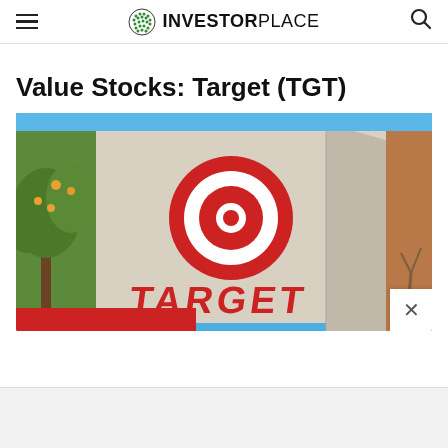INVESTORPLACE
Value Stocks: Target (TGT)
[Figure (photo): Exterior photo of a Target retail store building showing the large red Target bullseye logo on the facade and 'TARGET' text at the bottom, with trees and blue sky in the background.]